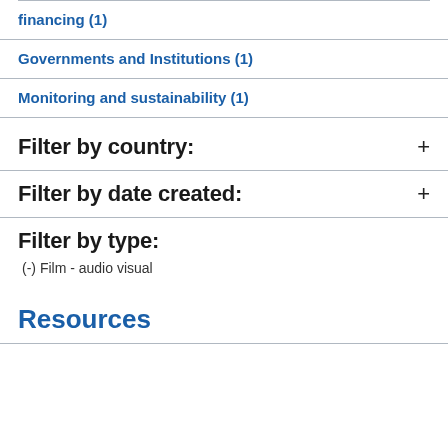financing (1)
Governments and Institutions (1)
Monitoring and sustainability (1)
Filter by country:
Filter by date created:
Filter by type:
(-) Film - audio visual
Resources